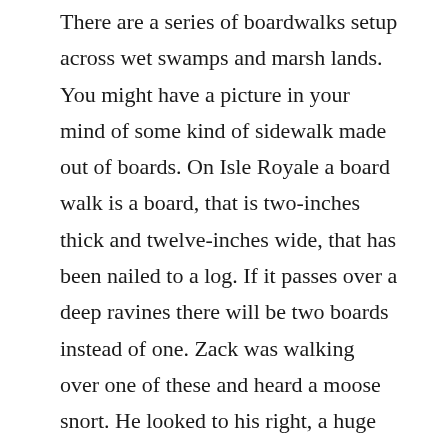There are a series of boardwalks setup across wet swamps and marsh lands. You might have a picture in your mind of some kind of sidewalk made out of boards. On Isle Royale a board walk is a board, that is two-inches thick and twelve-inches wide, that has been nailed to a log. If it passes over a deep ravines there will be two boards instead of one. Zack was walking over one of these and heard a moose snort. He looked to his right, a huge moose was glaring at him and it snorted even louder. Moose are the most dangerous animal in North America.  They need lots of personal space and this one was telling Zach,  “YOU’RE IN MY SPACE JERK!!” Zach got out of there just as fast as he could.
I was feeling very disappointed in myself.  It seems like I needed a break every  fifty feet. We have been talking